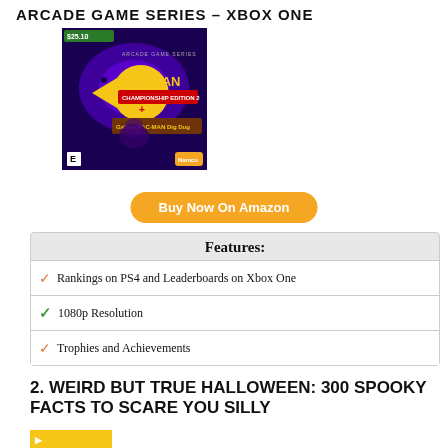ARCADE GAME SERIES – XBOX ONE
[Figure (photo): Pac-Man Championship Edition 2 plus Arcade Game Series Xbox One game cover, purple background with Pac-Man character]
Buy Now On Amazon
Features:
Rankings on PS4 and Leaderboards on Xbox One
1080p Resolution
Trophies and Achievements
2. WEIRD BUT TRUE HALLOWEEN: 300 SPOOKY FACTS TO SCARE YOU SILLY
[Figure (photo): Partial yellow book cover visible at bottom]